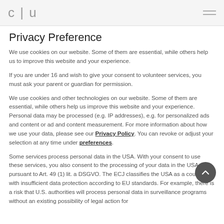c | u
Privacy Preference
We use cookies on our website. Some of them are essential, while others help us to improve this website and your experience.
If you are under 16 and wish to give your consent to volunteer services, you must ask your parent or guardian for permission.
We use cookies and other technologies on our website. Some of them are essential, while others help us improve this website and your experience. Personal data may be processed (e.g. IP addresses), e.g. for personalized ads and content or ad and content measurement. For more information about how we use your data, please see our Privacy Policy. You can revoke or adjust your selection at any time under preferences.
Some services process personal data in the USA. With your consent to use these services, you also consent to the processing of your data in the USA pursuant to Art. 49 (1) lit. a DSGVO. The ECJ classifies the USA as a country with insufficient data protection according to EU standards. For example, there is a risk that U.S. authorities will process personal data in surveillance programs without an existing possibility of legal action for